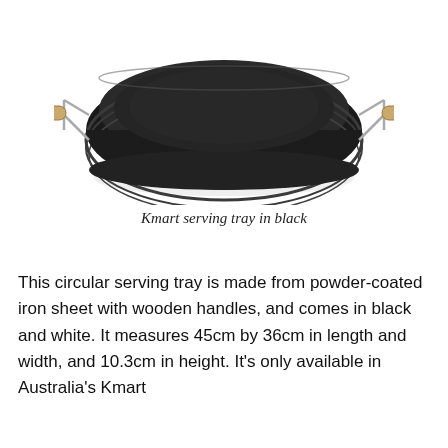[Figure (photo): A black circular serving tray with wooden handles, viewed from a slight angle above, showing the round shape and ridged sides. The tray is made of powder-coated iron sheet with two wooden-handled metal brackets on the sides.]
Kmart serving tray in black
This circular serving tray is made from powder-coated iron sheet with wooden handles, and comes in black and white. It measures 45cm by 36cm in length and width, and 10.3cm in height. It's only available in Australia's Kmart